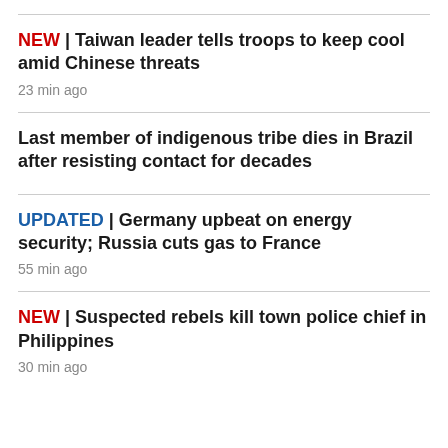NEW | Taiwan leader tells troops to keep cool amid Chinese threats — 23 min ago
Last member of indigenous tribe dies in Brazil after resisting contact for decades
UPDATED | Germany upbeat on energy security; Russia cuts gas to France — 55 min ago
NEW | Suspected rebels kill town police chief in Philippines — 30 min ago